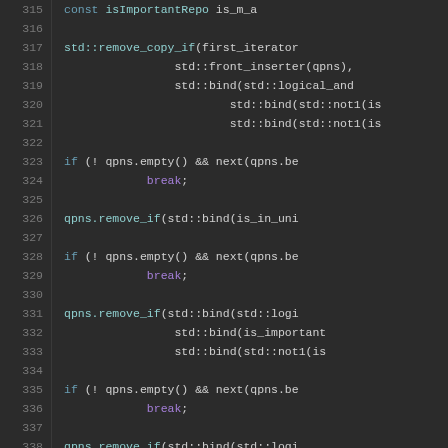[Figure (screenshot): C++ source code editor screenshot showing lines 315-342, dark theme, with syntax highlighting. Code involves std::remove_copy_if, std::bind, std::logical_and, qpns operations, and if statements with break.]